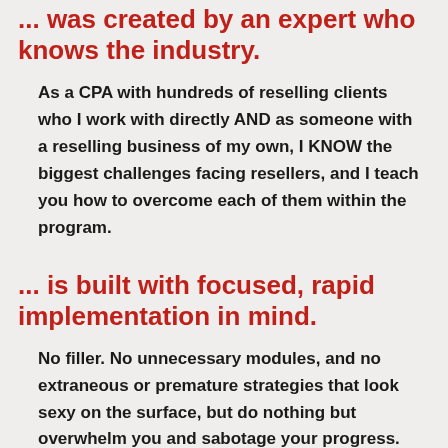... was created by an expert who knows the industry.
As a CPA with hundreds of reselling clients who I work with directly AND as someone with a reselling business of my own, I KNOW the biggest challenges facing resellers, and I teach you how to overcome each of them within the program.
... is built with focused, rapid implementation in mind.
No filler. No unnecessary modules, and no extraneous or premature strategies that look sexy on the surface, but do nothing but overwhelm you and sabotage your progress.